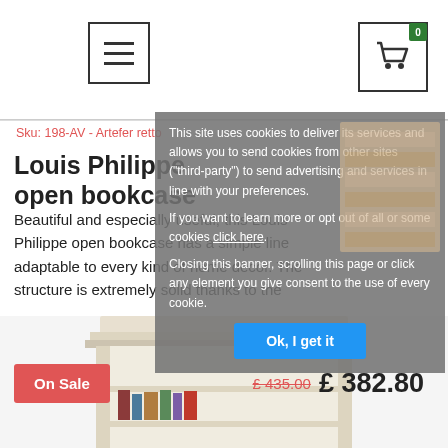[Figure (screenshot): Website header with hamburger menu icon on left and shopping cart icon with badge '0' on right]
This site uses cookies to deliver its services and allows you to send cookies from other sites ("third-party") to send advertising and services in line with your preferences.
If you want to learn more or opt out of all or some cookies click here.
Closing this banner, scrolling this page or click any element you give consent to the use of every cookie.
Ok, I get it
Sku: 198-AV - Artefer retto
Louis Philippe open bookcase
Beautiful and especially useful, this Louis Philippe open bookcase has a simple line adaptable to every kind of home decor. The structure is extremely solid thanks to the
On Sale
£ 435.00  £ 382.80
[Figure (photo): Bottom portion of a white Louis Philippe style open bookcase with ornate molding at top, showing shelves with books/items]